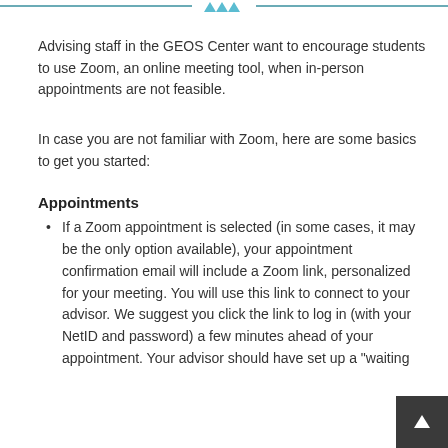[Figure (other): Teal horizontal rule with three small teal triangles/chevrons centered at the top of the page]
Advising staff in the GEOS Center want to encourage students to use Zoom, an online meeting tool, when in-person appointments are not feasible.
In case you are not familiar with Zoom, here are some basics to get you started:
Appointments
If a Zoom appointment is selected (in some cases, it may be the only option available), your appointment confirmation email will include a Zoom link, personalized for your meeting. You will use this link to connect to your advisor. We suggest you click the link to log in (with your NetID and password) a few minutes ahead of your appointment. Your advisor should have set up a "waiting